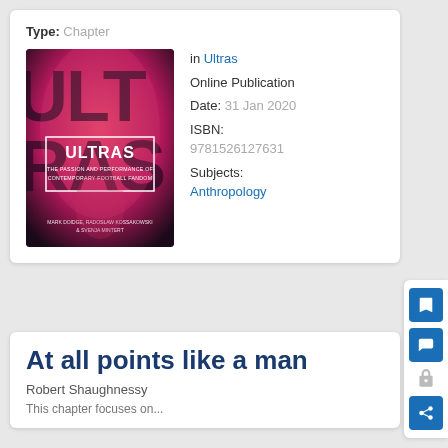Type: Chapter
[Figure (photo): Book cover of 'Ultras: The Passion and Performance of Contemporary Football Fandom' by Mark Doidge, Radoslaw Kossakowski & Svenja Mintert. Pink/magenta dramatic background with large stylized 'ULTRAS' text.]
in Ultras
Online Publication Date: 31 Jan 2020
ISBN: 9781526127631
Subjects: Anthropology
At all points like a man
Robert Shaughnessy
This chapter focuses on...